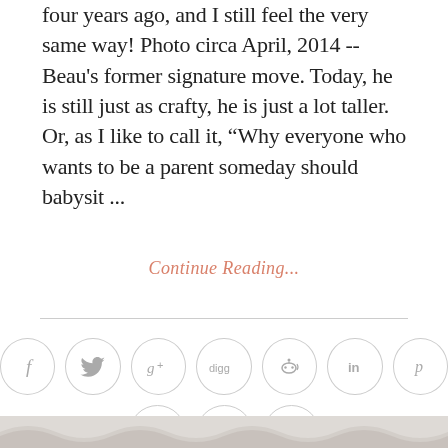four years ago, and I still feel the very same way! Photo circa April, 2014 -- Beau's former signature move. Today, he is still just as crafty, he is just a lot taller.  Or, as I like to call it, “Why everyone who wants to be a parent someday should babysit ...
Continue Reading...
[Figure (infographic): Social media sharing icons in light gray circles: Facebook (f), Twitter (bird), Google+ (g+), Digg (digg), Reddit (alien), LinkedIn (in), Pinterest (p), StumbleUpon (su), Tumblr (t), Email (envelope)]